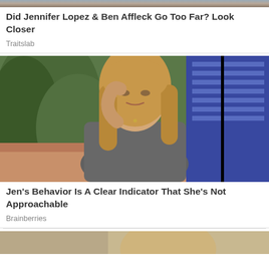[Figure (photo): Top portion of a celebrity photo, cropped]
Did Jennifer Lopez & Ben Affleck Go Too Far? Look Closer
Traitslab
[Figure (photo): Jennifer Aniston seated on a couch, hand raised to her head, wearing a grey ribbed top, in a TV show set environment]
Jen's Behavior Is A Clear Indicator That She's Not Approachable
Brainberries
[Figure (photo): Bottom partially visible photo, another celebrity image]